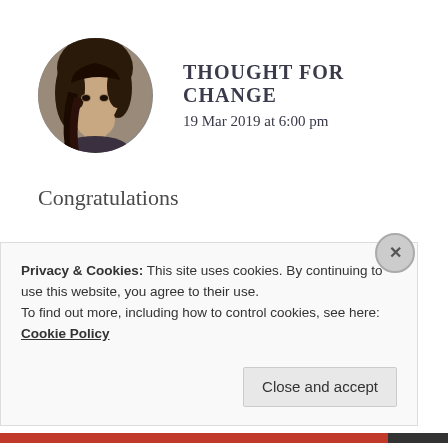[Figure (photo): Circular avatar photo of a person with dark hair]
THOUGHT FOR CHANGE
19 Mar 2019 at 6:00 pm
Congratulations
★ Liked by 4 people
REPLY
Privacy & Cookies: This site uses cookies. By continuing to use this website, you agree to their use.
To find out more, including how to control cookies, see here: Cookie Policy